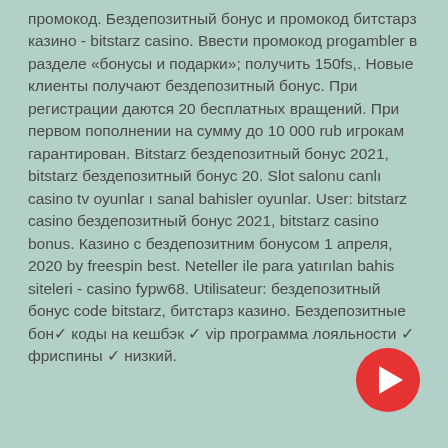промокод. Бездепозитный бонус и промокод битстарз казино - bitstarz casino. Ввести промокод progambler в разделе «бонусы и подарки»; получить 150fs,. Новые клиенты получают бездепозитный бонус. При регистрации даются 20 бесплатных вращений. При первом пополнении на сумму до 10 000 rub игрокам гарантирован. Bitstarz бездепозитный бонус 2021, bitstarz бездепозитный бонус 20. Slot salonu canlı casino tv oyunlar ı sanal bahisler oyunlar. User: bitstarz casino бездепозитный бонус 2021, bitstarz casino bonus. Казино с бездепозитним бонусом 1 апреля, 2020 by freespin best. Neteller ile para yatırılan bahis siteleri - casino fypw68. Utilisateur: бездепозитный бонус code bitstarz, битстарз казино. Бездепозитные бон✓ коды на кешбэк ✓ vip программа лояльности ✓ фриспины ✓ низкий.
[Figure (other): YouTube play button icon — a red circle with a white play triangle in the center, positioned in the bottom-right area of the page.]